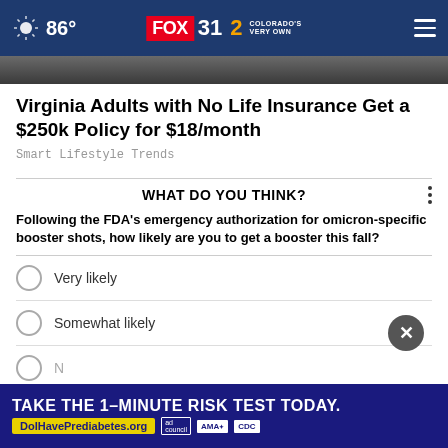86° FOX 31 2 COLORADO'S VERY OWN
[Figure (screenshot): Partial image strip showing blurred photo of people at top of article]
Virginia Adults with No Life Insurance Get a $250k Policy for $18/month
Smart Lifestyle Trends
WHAT DO YOU THINK?
Following the FDA's emergency authorization for omicron-specific booster shots, how likely are you to get a booster this fall?
Very likely
Somewhat likely
N...
I...
[Figure (infographic): Ad banner: TAKE THE 1-MINUTE RISK TEST TODAY. DolHavePrediabetes.org with ad council, AMA, and CDC logos]